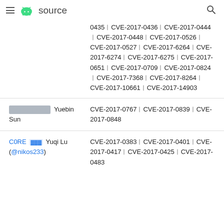≡  🤖 source   🔍
| Researcher | CVEs |
| --- | --- |
|  | 0435|CVE-2017-0436|CVE-2017-0444|CVE-2017-0448|CVE-2017-0526|CVE-2017-0527|CVE-2017-6264|CVE-2017-6274|CVE-2017-6275|CVE-2017-0651|CVE-2017-0709|CVE-2017-0824|CVE-2017-7368|CVE-2017-8264|CVE-2017-10661|CVE-2017-14903 |
| [redacted] Yuebin Sun | CVE-2017-0767|CVE-2017-0839|CVE-2017-0848 |
| C0RE [redacted] Yuqi Lu (@nikos233) | CVE-2017-0383|CVE-2017-0401|CVE-2017-0417|CVE-2017-0425|CVE-2017-0483 |